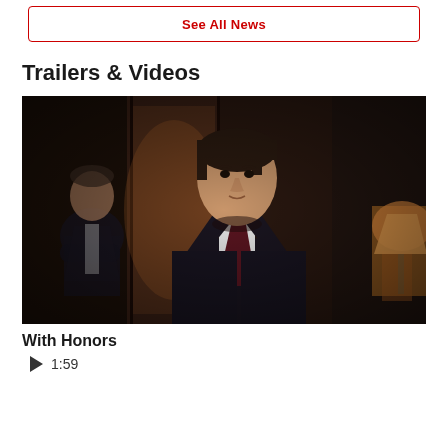See All News
Trailers & Videos
[Figure (photo): Movie still from 'With Honors' showing a young man in a dark suit and tie standing in a wood-paneled room, with another man visible in the background]
With Honors
▶ 1:59